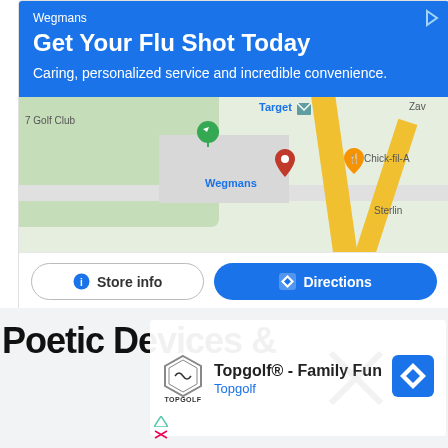[Figure (screenshot): Google ad for Wegmans pharmacy flu shot with blue header, embedded Google Map showing Wegmans location near Target and Chick-fil-A, and Store info / Directions buttons]
Poetic Devices &
[Figure (screenshot): Google ad overlay for Topgolf - Family Fun with Topgolf logo and directions arrow button]